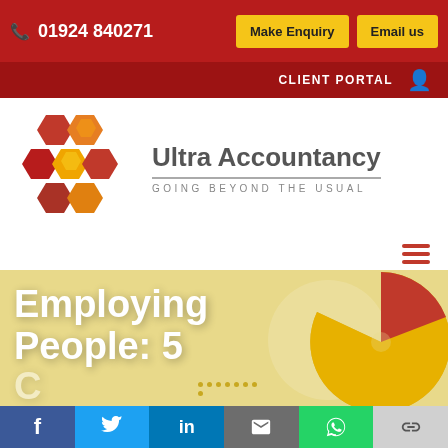📞 01924 840271   Make Enquiry   Email us
CLIENT PORTAL
[Figure (logo): Ultra Accountancy logo with red/yellow hexagon honeycomb arrangement and text 'Ultra Accountancy / GOING BEYOND THE USUAL']
[Figure (infographic): Hamburger menu icon (three red horizontal lines)]
Employing People: 5
[Figure (pie-chart): Decorative pie chart graphic in red and gold/yellow colors, partially visible in the hero banner]
f  Twitter  in  Email  WhatsApp  Link